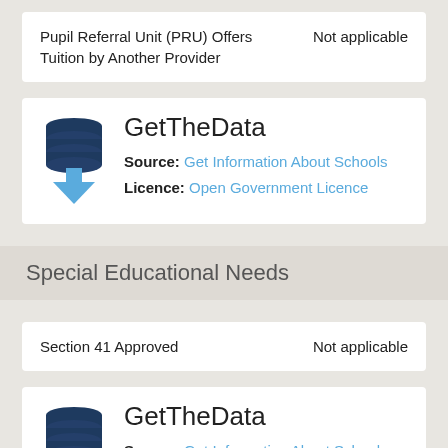| Field | Value |
| --- | --- |
| Pupil Referral Unit (PRU) Offers Tuition by Another Provider | Not applicable |
[Figure (logo): GetTheData database logo with download arrow icon]
GetTheData
Source: Get Information About Schools
Licence: Open Government Licence
Special Educational Needs
| Field | Value |
| --- | --- |
| Section 41 Approved | Not applicable |
[Figure (logo): GetTheData database logo with download arrow icon]
GetTheData
Source: Get Information About Schools
Licence: Open Government Licence